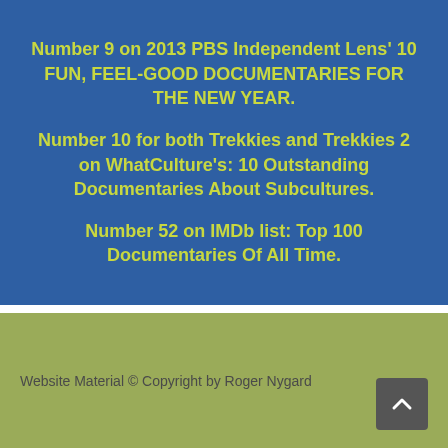Number 9 on 2013 PBS Independent Lens' 10 FUN, FEEL-GOOD DOCUMENTARIES FOR THE NEW YEAR.
Number 10 for both Trekkies and Trekkies 2 on WhatCulture's: 10 Outstanding Documentaries About Subcultures.
Number 52 on IMDb list: Top 100 Documentaries Of All Time.
Website Material © Copyright by Roger Nygard